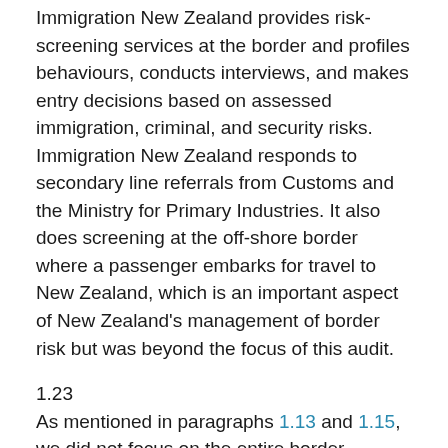Immigration New Zealand provides risk-screening services at the border and profiles behaviours, conducts interviews, and makes entry decisions based on assessed immigration, criminal, and security risks. Immigration New Zealand responds to secondary line referrals from Customs and the Ministry for Primary Industries. It also does screening at the off-shore border where a passenger embarks for travel to New Zealand, which is an important aspect of New Zealand's management of border risk but was beyond the focus of this audit.
1.23
As mentioned in paragraphs 1.13 and 1.15, we did not focus on the entire border operations of MPI and Customs. Our scope was confined to the processing of incoming passengers at major ports.
1.24
We did not audit how the agencies processed outgoing passengers or private aircraft or boats. We did not audit the International Mail Centre or look at how cargo is processed.